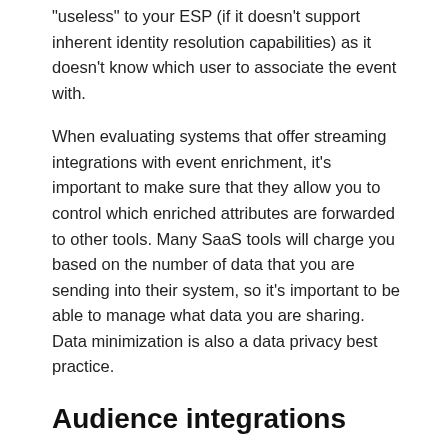“useless” to your ESP (if it doesn’t support inherent identity resolution capabilities) as it doesn’t know which user to associate the event with.
When evaluating systems that offer streaming integrations with event enrichment, it’s important to make sure that they allow you to control which enriched attributes are forwarded to other tools. Many SaaS tools will charge you based on the number of data that you are sending into their system, so it’s important to be able to manage what data you are sharing. Data minimization is also a data privacy best practice.
Audience integrations
Thus far, we’ve been focused on integration types that allow you to forward event data across systems. Many integration use cases, however, depend not on sending a list of events, but on sending a list of user records.